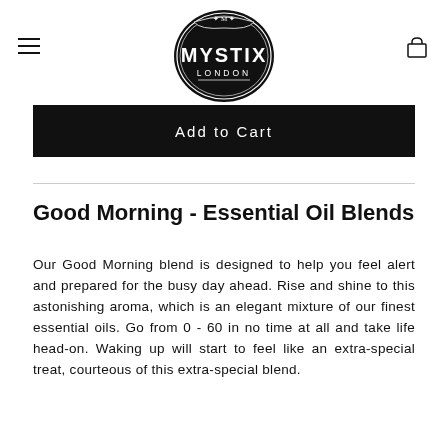[Figure (logo): Mystix London logo: black oval badge with decorative border, crown/crest at top, text MYSTIX in large letters, LONDON below in smaller letters]
Add to Cart
Good Morning - Essential Oil Blends
Our Good Morning blend is designed to help you feel alert and prepared for the busy day ahead. Rise and shine to this astonishing aroma, which is an elegant mixture of our finest essential oils. Go from 0 - 60 in no time at all and take life head-on. Waking up will start to feel like an extra-special treat, courteous of this extra-special blend.